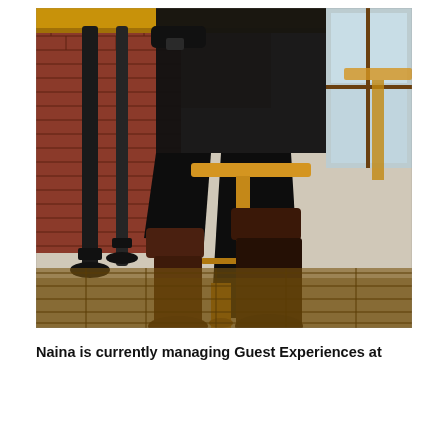[Figure (photo): A person wearing all black clothing and tall dark brown leather riding boots, seated on a wooden bar stool in what appears to be a rustic restaurant or bar. The background features exposed brick walls, black industrial metal pipes/poles, and worn wooden floors. A wooden table and additional bar stools are visible in the right background.]
Naina is currently managing Guest Experiences at